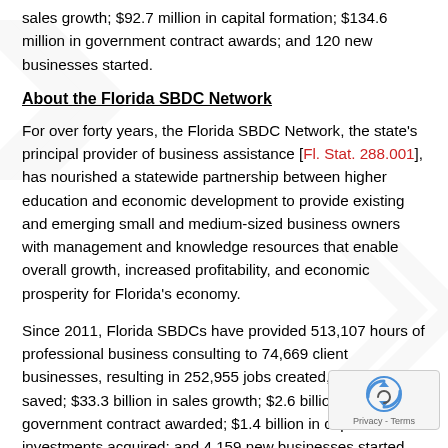sales growth; $92.7 million in capital formation; $134.6 million in government contract awards; and 120 new businesses started.
About the Florida SBDC Network
For over forty years, the Florida SBDC Network, the state's principal provider of business assistance [Fl. Stat. 288.001], has nourished a statewide partnership between higher education and economic development to provide existing and emerging small and medium-sized business owners with management and knowledge resources that enable overall growth, increased profitability, and economic prosperity for Florida's economy.
Since 2011, Florida SBDCs have provided 513,107 hours of professional business consulting to 74,669 client businesses, resulting in 252,955 jobs created, retained, or saved; $33.3 billion in sales growth; $2.6 billion in government contract awarded; $1.4 billion in capital investments acquired; and 4,159 new businesses started.
A statewide network of over 40 offices, the Florida SBDC is funded in part by the U.S. Small Business Administration,